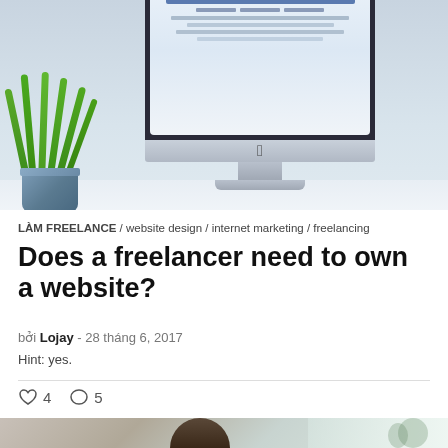[Figure (photo): iMac computer on a desk with a green plant in a blue metal pot to the left, light background]
LÀM FREELANCE / website design / internet marketing / freelancing
Does a freelancer need to own a website?
bởi Lojay - 28 tháng 6, 2017
Hint: yes.
♡ 4   ○ 5
[Figure (photo): Person sitting at a desk, plants visible in background, bright window light]